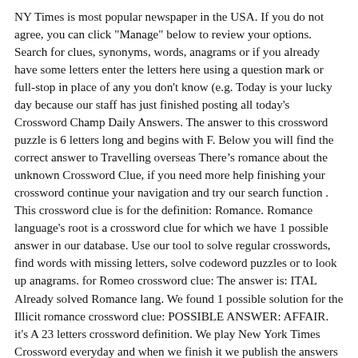NY Times is most popular newspaper in the USA. If you do not agree, you can click "Manage" below to review your options. Search for clues, synonyms, words, anagrams or if you already have some letters enter the letters here using a question mark or full-stop in place of any you don't know (e.g. Today is your lucky day because our staff has just finished posting all today's Crossword Champ Daily Answers. The answer to this crossword puzzle is 6 letters long and begins with F. Below you will find the correct answer to Travelling overseas There&rsquo s romance about the unknown Crossword Clue, if you need more help finishing your crossword continue your navigation and try our search function . This crossword clue is for the definition: Romance. Romance language's root is a crossword clue for which we have 1 possible answer in our database. Use our tool to solve regular crosswords, find words with missing letters, solve codeword puzzles or to look up anagrams. for Romeo crossword clue: The answer is: ITAL Already solved Romance lang. We found 1 possible solution for the Illicit romance crossword clue: POSSIBLE ANSWER: AFFAIR. it's A 23 letters crossword definition. We play New York Times Crossword everyday and when we finish it we publish the answers on … Continue reading Meet-cute in a romance … This crossword clue was last seen on 29 March 2020 in Express.co.uk Quick Crossword puzzle!. Solving puzzles improves your memory and verbal skills while making you solve problems and focus your thinking. We play New York Times